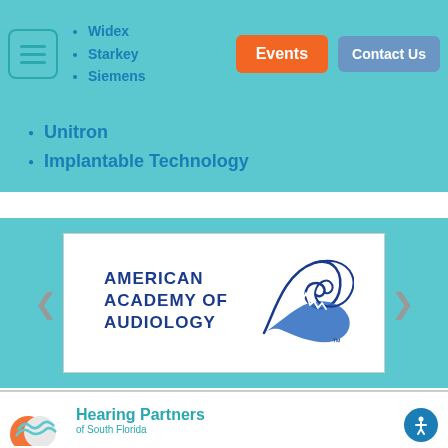Navigation bar with hamburger menu, list items: Widex, Starkey, Siemens, Events button, Contact Us button
Unitron
Implantable Technology
[Figure (logo): American Academy of Audiology logo with stylized waveform graphic in blue, inside a white bordered slider frame with left and right navigation arrows]
Hearing Partners of South Florida logo and brand name